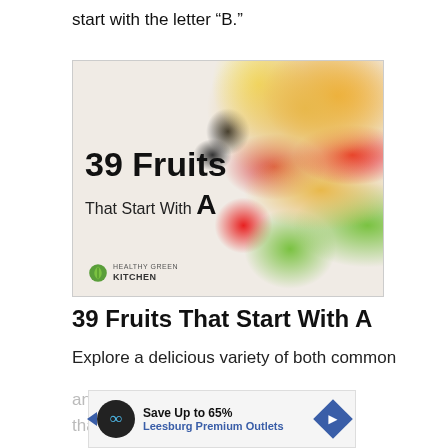start with the letter “B.”
[Figure (photo): Photo of assorted colorful fruits including strawberries, blueberries, oranges, kiwi, grapes, mango, and papaya arranged on a white surface with text overlay reading '39 Fruits That Start With A' and Healthy Green Kitchen logo]
39 Fruits That Start With A
Explore a delicious variety of both common
and ... s
that ...